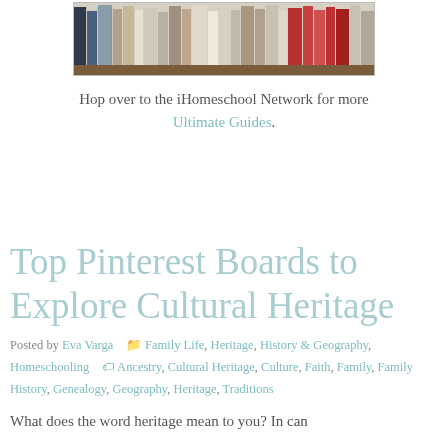[Figure (photo): Row of books standing upright on a wooden surface, viewed from the side, various colors and sizes]
Hop over to the iHomeschool Network for more Ultimate Guides.
Top Pinterest Boards to Explore Cultural Heritage
Posted by Eva Varga  Family Life, Heritage, History & Geography, Homeschooling  Ancestry, Cultural Heritage, Culture, Faith, Family, Family History, Genealogy, Geography, Heritage, Traditions
What does the word heritage mean to you? In can